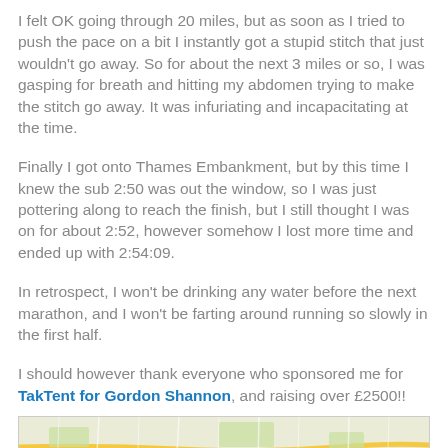I felt OK going through 20 miles, but as soon as I tried to push the pace on a bit I instantly got a stupid stitch that just wouldn't go away. So for about the next 3 miles or so, I was gasping for breath and hitting my abdomen trying to make the stitch go away. It was infuriating and incapacitating at the time.
Finally I got onto Thames Embankment, but by this time I knew the sub 2:50 was out the window, so I was just pottering along to reach the finish, but I still thought I was on for about 2:52, however somehow I lost more time and ended up with 2:54:09.
In retrospect, I won't be drinking any water before the next marathon, and I won't be farting around running so slowly in the first half.
I should however thank everyone who sponsored me for TakTent for Gordon Shannon, and raising over £2500!!
[Figure (map): A map showing London streets and Thames Embankment area]